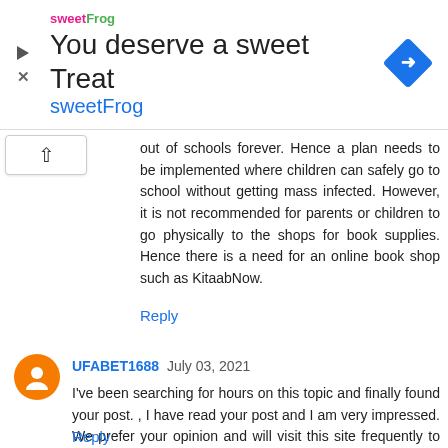[Figure (screenshot): Advertisement banner for sweetFrog frozen yogurt. Title: 'You deserve a sweet Treat'. Brand name 'sweetFrog' shown in pink/green logo and blue text. Blue diamond navigation icon on right.]
out of schools forever. Hence a plan needs to be implemented where children can safely go to school without getting mass infected. However, it is not recommended for parents or children to go physically to the shops for book supplies. Hence there is a need for an online book shop such as KitaabNow.
Reply
UFABET1688  July 03, 2021
I've been searching for hours on this topic and finally found your post. , I have read your post and I am very impressed. We prefer your opinion and will visit this site frequently to refer to your opinion. When would you like to visit my site? ufabet168
Reply